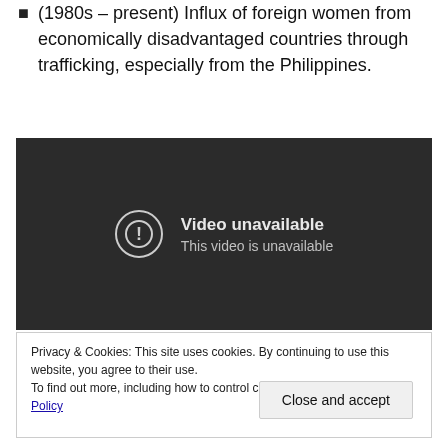(1980s – present) Influx of foreign women from economically disadvantaged countries through trafficking, especially from the Philippines.
[Figure (screenshot): Embedded video player showing 'Video unavailable – This video is unavailable' message on a dark background.]
Privacy & Cookies: This site uses cookies. By continuing to use this website, you agree to their use.
To find out more, including how to control cookies, see here: Cookie Policy